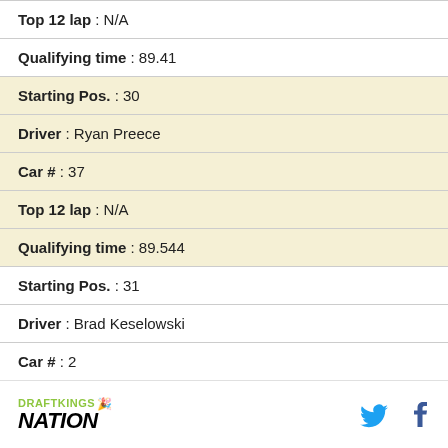Top 12 lap : N/A
Qualifying time : 89.41
Starting Pos. : 30
Driver : Ryan Preece
Car # : 37
Top 12 lap : N/A
Qualifying time : 89.544
Starting Pos. : 31
Driver : Brad Keselowski
Car # : 2
DRAFTKINGS NATION